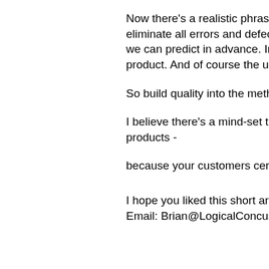Now there's a realistic phrase eliminate all errors and defects we can predict in advance. In product. And of course the unk
So build quality into the metho
I believe there's a mind-set tha products -
because your customers certa
I hope you liked this short artic Email: Brian@LogicalConcusi